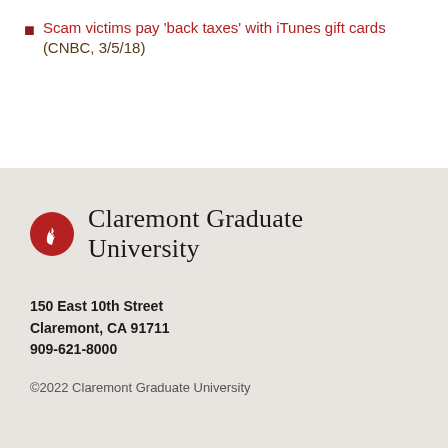Scam victims pay 'back taxes' with iTunes gift cards (CNBC, 3/5/18)
[Figure (logo): Claremont Graduate University logo: red circle with white flame/torch symbol, followed by text 'Claremont Graduate University']
150 East 10th Street
Claremont, CA 91711
909-621-8000
©2022 Claremont Graduate University